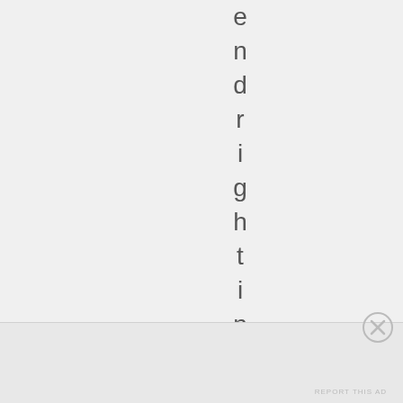e n d r i g h t i n a n d v
Advertisements
[Figure (other): Close/dismiss button (circled X) in the bottom right area]
REPORT THIS AD